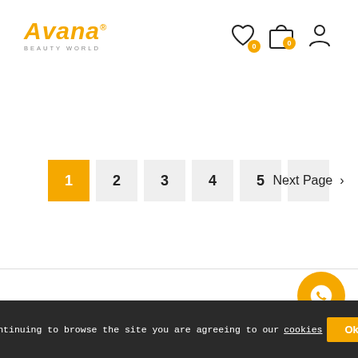[Figure (logo): Avana Beauty World logo in orange/gold italic text with registered trademark symbol and 'BEAUTY WORLD' subtitle. Navigation icons: heart with badge 0, shopping bag with badge 0, user profile icon.]
[Figure (infographic): Pagination controls: page 1 (active, orange background), pages 2, 3, 4, 5 (grey), Next Page button with chevron.]
By continuing to browse the site you are agreeing to our cookies
Okay